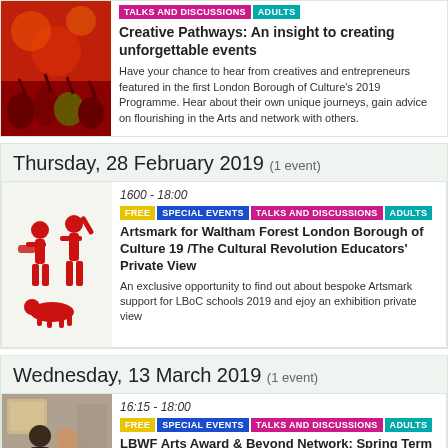[Figure (photo): Concert crowd with red lighting]
TALKS AND DISCUSSIONS | ADULTS
Creative Pathways: An insight to creating unforgettable events
Have your chance to hear from creatives and entrepreneurs featured in the first London Borough of Culture's 2019 Programme. Hear about their own unique journeys, gain advice on flourishing in the Arts and network with others.
Thursday, 28 February 2019 (1 event)
[Figure (photo): Red illustration of musicians performing]
1600 - 18:00
FREE | SPECIAL EVENTS | TALKS AND DISCUSSIONS | ADULTS
Artsmark for Waltham Forest London Borough of Culture 19 /The Cultural Revolution Educators' Private View
An exclusive opportunity to find out about bespoke Artsmark support for LBoC schools 2019 and ejoy an exhibition private view
Wednesday, 13 March 2019 (1 event)
[Figure (photo): Two people at an arts event]
16:15 - 18:00
FREE | SPECIAL EVENTS | TALKS AND DISCUSSIONS | ADULTS
LBWF Arts Award & Beyond Network: Spring Term Meeting
An opportunity to connect and network with others...